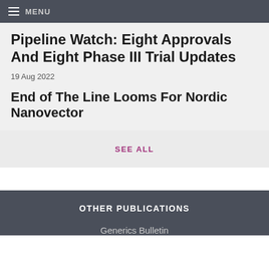MENU
Pipeline Watch: Eight Approvals And Eight Phase III Trial Updates
19 Aug 2022
End of The Line Looms For Nordic Nanovector
SEE ALL
OTHER PUBLICATIONS
Generics Bulletin